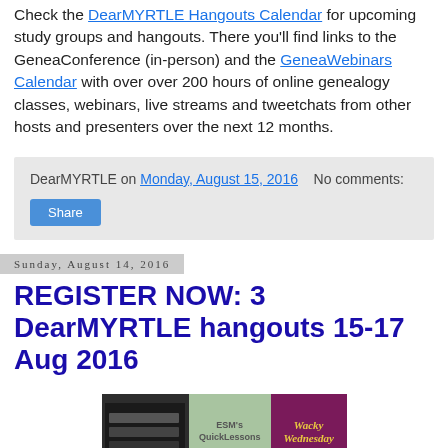Check the DearMYRTLE Hangouts Calendar for upcoming study groups and hangouts. There you'll find links to the GeneaConference (in-person) and the GeneaWebinars Calendar with over over 200 hours of online genealogy classes, webinars, live streams and tweetchats from other hosts and presenters over the next 12 months.
DearMYRTLE on Monday, August 15, 2016   No comments:
Share
Sunday, August 14, 2016
REGISTER NOW: 3 DearMYRTLE hangouts 15-17 Aug 2016
[Figure (photo): Thumbnail banner image showing three sections: a dark left panel, a green middle panel with 'ESM's QuickLessons' text, and a purple right panel with 'Wacky Wednesday' in yellow cursive text.]